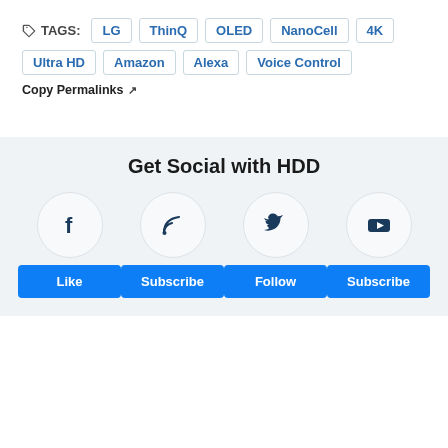TAGS: LG ThinQ OLED NanoCell 4K Ultra HD Amazon Alexa Voice Control
Copy Permalinks ↗
Get Social with HDD
[Figure (infographic): Four social media icons (Facebook, RSS/Subscribe, Twitter, YouTube) in circular borders with colored buttons below: Like, Subscribe, Follow, Subscribe]